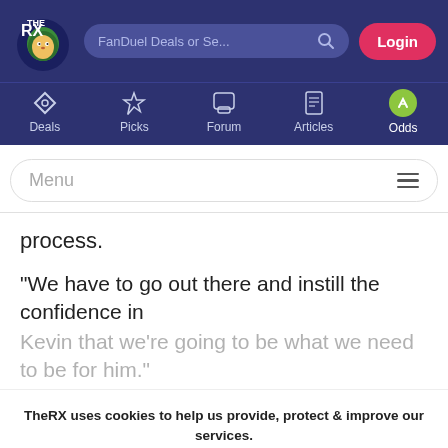[Figure (screenshot): TheRX website navigation header with logo, search bar labeled 'FanDuel Deals or Se...', and Login button on dark navy background]
[Figure (screenshot): Navigation icons row: Deals, Picks, Forum, Articles, Odds on dark navy background]
[Figure (screenshot): Menu bar with hamburger icon on white rounded rectangle]
process.
“We have to go out there and instill the confidence in
Kevin that we’re going to be what we need to be for him.”
TheRX uses cookies to help us provide, protect & improve our services. See our Privacy Policy for more details.
Accept & Close